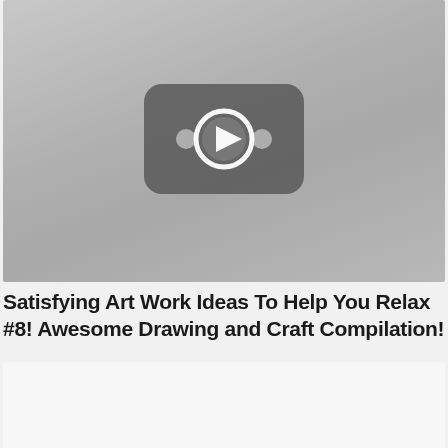[Figure (screenshot): YouTube video thumbnail placeholder showing a rounded rectangle YouTube play button icon (dark gray) with a white circular play button in the center and two small dots on either side, on a light gray gradient background.]
Satisfying Art Work Ideas To Help You Relax #8! Awesome Drawing and Craft Compilation!
[Figure (screenshot): Partial second video thumbnail, mostly white/light gray, cut off at the bottom of the page.]